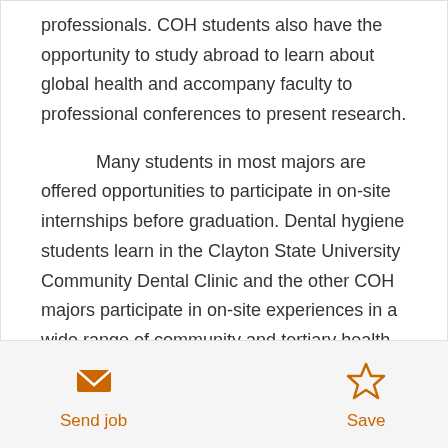professionals. COH students also have the opportunity to study abroad to learn about global health and accompany faculty to professional conferences to present research.

Many students in most majors are offered opportunities to participate in on-site internships before graduation. Dental hygiene students learn in the Clayton State University Community Dental Clinic and the other COH majors participate in on-site experiences in a wide range of community and tertiary health centers.
[Figure (infographic): Send job button (envelope icon in orange) on the left and Save button (star icon in orange) on the right, both with orange text labels below]